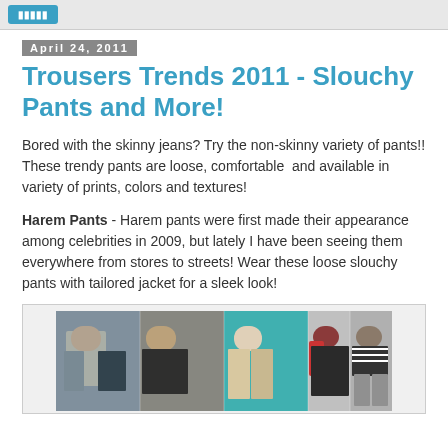[button]
April 24, 2011
Trousers Trends 2011 - Slouchy Pants and More!
Bored with the skinny jeans? Try the non-skinny variety of pants!! These trendy pants are loose, comfortable  and available in variety of prints, colors and textures!
Harem Pants - Harem pants were first made their appearance among celebrities in 2009, but lately I have been seeing them everywhere from stores to streets! Wear these loose slouchy pants with tailored jacket for a sleek look!
[Figure (photo): Collage of four celebrities wearing harem/slouchy pants in various styles]